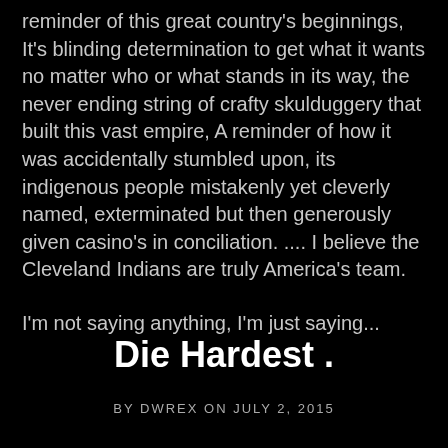reminder of  this great country's  beginnings, It's blinding determination to get what it wants no matter who or what stands in its way,  the never ending string of crafty skulduggery that built this vast empire, A reminder of how it was accidentally stumbled upon, its indigenous people mistakenly yet cleverly named, exterminated but then generously given casino's in conciliation. .... I believe the Cleveland Indians are truly America's team.
I'm not saying anything, I'm just saying...
Die Hardest .
BY DWREX ON JULY 2, 2015